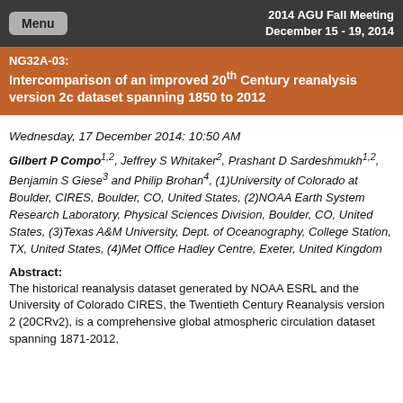2014 AGU Fall Meeting
December 15 - 19, 2014
NG32A-03: Intercomparison of an improved 20th Century reanalysis version 2c dataset spanning 1850 to 2012
Wednesday, 17 December 2014: 10:50 AM
Gilbert P Compo1,2, Jeffrey S Whitaker2, Prashant D Sardeshmukh1,2, Benjamin S Giese3 and Philip Brohan4, (1)University of Colorado at Boulder, CIRES, Boulder, CO, United States, (2)NOAA Earth System Research Laboratory, Physical Sciences Division, Boulder, CO, United States, (3)Texas A&M University, Dept. of Oceanography, College Station, TX, United States, (4)Met Office Hadley Centre, Exeter, United Kingdom
Abstract:
The historical reanalysis dataset generated by NOAA ESRL and the University of Colorado CIRES, the Twentieth Century Reanalysis version 2 (20CRv2), is a comprehensive global atmospheric circulation dataset spanning 1871-2012,